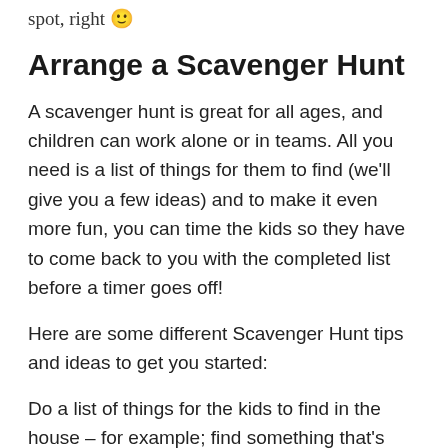spot, right 🙂
Arrange a Scavenger Hunt
A scavenger hunt is great for all ages, and children can work alone or in teams. All you need is a list of things for them to find (we'll give you a few ideas) and to make it even more fun, you can time the kids so they have to come back to you with the completed list before a timer goes off!
Here are some different Scavenger Hunt tips and ideas to get you started:
Do a list of things for the kids to find in the house – for example; find something that's made of plastic, find something that turns on and off, find something that has a pattern on it, that's made of metal,